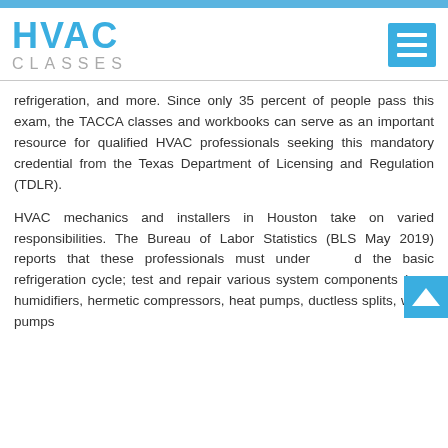HVAC CLASSES
refrigeration, and more. Since only 35 percent of people pass this exam, the TACCA classes and workbooks can serve as an important resource for qualified HVAC professionals seeking this mandatory credential from the Texas Department of Licensing and Regulation (TDLR).
HVAC mechanics and installers in Houston take on varied responsibilities. The Bureau of Labor Statistics (BLS May 2019) reports that these professionals must understand the basic refrigeration cycle; test and repair various system components (e.g., humidifiers, hermetic compressors, heat pumps, ductless splits, water pumps...